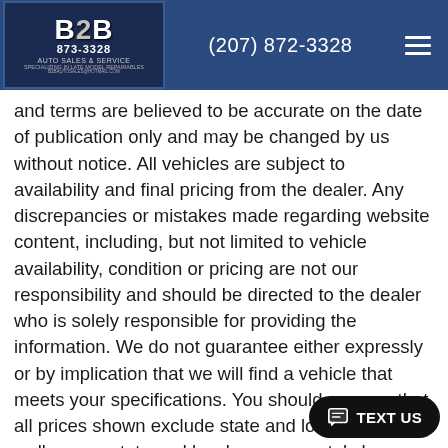B2B Auto Sales & Service — (207) 872-3328
and terms are believed to be accurate on the date of publication only and may be changed by us without notice. All vehicles are subject to availability and final pricing from the dealer. Any discrepancies or mistakes made regarding website content, including, but not limited to vehicle availability, condition or pricing are not our responsibility and should be directed to the dealer who is solely responsible for providing the information. We do not guarantee either expressly or by implication that we will find a vehicle that meets your specifications. You should assume that all prices shown exclude state and local taxes, as well as any state and local governmental charges, including without limitation, registration, license and documentary fees, emissions certification fees and